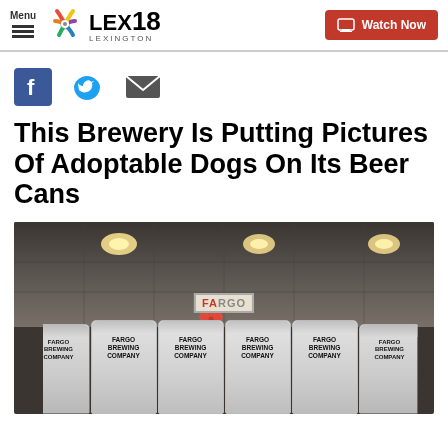Menu | LEX18 LEXINGTON | Watch Now
[Figure (infographic): Social sharing icons: Facebook (blue square with f), Twitter (blue bird), Email (grey envelope)]
This Brewery Is Putting Pictures Of Adoptable Dogs On Its Beer Cans
[Figure (photo): Photo of rows of Fargo Brewing Company beer cans on a store shelf with a Fargo sign visible in the background and ceiling lights above]